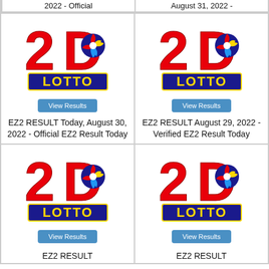2022 - Official
August 31, 2022 -
[Figure (logo): 2D Lotto logo with red letters and blue LOTTO banner]
View Results
EZ2 RESULT Today, August 30, 2022 - Official EZ2 Result Today
[Figure (logo): 2D Lotto logo with red letters and blue LOTTO banner]
View Results
EZ2 RESULT August 29, 2022 - Verified EZ2 Result Today
[Figure (logo): 2D Lotto logo with red letters and blue LOTTO banner]
View Results
EZ2 RESULT
[Figure (logo): 2D Lotto logo with red letters and blue LOTTO banner]
View Results
EZ2 RESULT